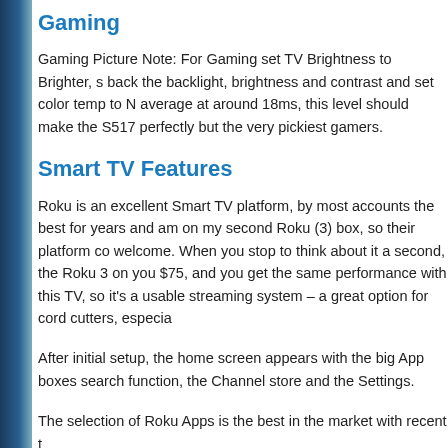Gaming
Gaming Picture Note: For Gaming set TV Brightness to Brighter, s back the backlight, brightness and contrast and set color temp to N average at around 18ms, this level should make the S517 perfectly but the very pickiest gamers.
Smart TV Features
Roku is an excellent Smart TV platform, by most accounts the best for years and am on my second Roku (3) box, so their platform co welcome. When you stop to think about it a second, the Roku 3 on you $75, and you get the same performance with this TV, so it's a usable streaming system – a great option for cord cutters, especia
After initial setup, the home screen appears with the big App boxes search function, the Channel store and the Settings.
The selection of Roku Apps is the best in the market with recent t